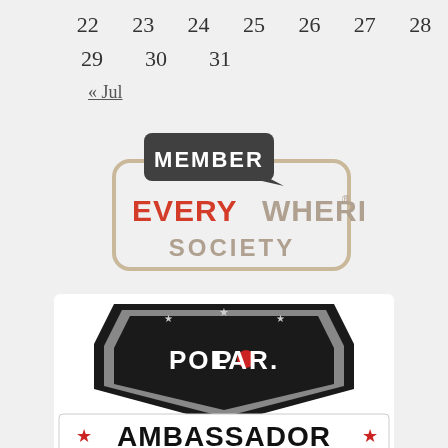| 22 | 23 | 24 | 25 | 26 | 27 | 28 |
| 29 | 30 | 31 |  |  |  |  |
« Jul
[Figure (logo): Member Everywhere Society badge logo — speech bubble shape with dark grey background showing 'MEMBER' in white bold text, below a rounded rectangle outline with 'EVERY' in red and 'WHERE' in grey bold text, and 'SOCIETY' below in grey bold text]
[Figure (logo): Polar Ambassador badge logo — shield/crest shape with black and dark grey background, 'POLAR.' brand logo in white with red circle dot in O, and 'AMBASSADOR' in large bold black outlined text with red stars on sides]